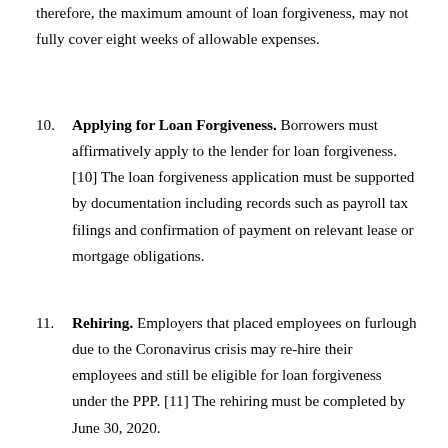therefore, the maximum amount of loan forgiveness, may not fully cover eight weeks of allowable expenses.
10. Applying for Loan Forgiveness. Borrowers must affirmatively apply to the lender for loan forgiveness. [10] The loan forgiveness application must be supported by documentation including records such as payroll tax filings and confirmation of payment on relevant lease or mortgage obligations.
11. Rehiring. Employers that placed employees on furlough due to the Coronavirus crisis may re-hire their employees and still be eligible for loan forgiveness under the PPP. [11] The rehiring must be completed by June 30, 2020.